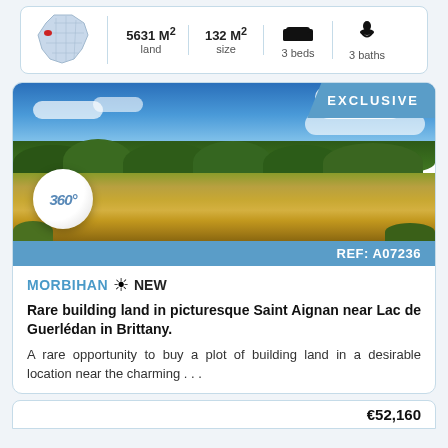| Map | Land | Size | Beds | Baths |
| --- | --- | --- | --- | --- |
| France map | 5631 M² land | 132 M² size | 3 beds | 3 baths |
[Figure (photo): Outdoor landscape photo of a field with trees and blue sky, showing a 360° badge overlay and EXCLUSIVE banner. REF: A07236]
MORBIHAN ☀ NEW
Rare building land in picturesque Saint Aignan near Lac de Guerlédan in Brittany.
A rare opportunity to buy a plot of building land in a desirable location near the charming . . .
€52,160